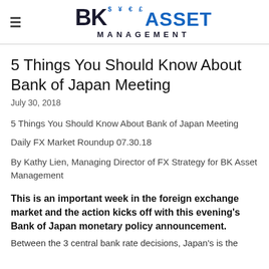BK Asset Management
5 Things You Should Know About Bank of Japan Meeting
July 30, 2018
5 Things You Should Know About Bank of Japan Meeting
Daily FX Market Roundup 07.30.18
By Kathy Lien, Managing Director of FX Strategy for BK Asset Management
This is an important week in the foreign exchange market and the action kicks off with this evening's Bank of Japan monetary policy announcement. Between the 3 central bank rate decisions, Japan's is the